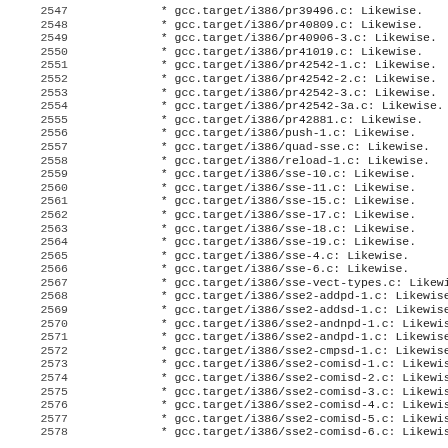2547     * gcc.target/i386/pr39496.c: Likewise.
2548     * gcc.target/i386/pr40809.c: Likewise.
2549     * gcc.target/i386/pr40906-3.c: Likewise.
2550     * gcc.target/i386/pr41019.c: Likewise.
2551     * gcc.target/i386/pr42542-1.c: Likewise.
2552     * gcc.target/i386/pr42542-2.c: Likewise.
2553     * gcc.target/i386/pr42542-3.c: Likewise.
2554     * gcc.target/i386/pr42542-3a.c: Likewise.
2555     * gcc.target/i386/pr42881.c: Likewise.
2556     * gcc.target/i386/push-1.c: Likewise.
2557     * gcc.target/i386/quad-sse.c: Likewise.
2558     * gcc.target/i386/reload-1.c: Likewise.
2559     * gcc.target/i386/sse-10.c: Likewise.
2560     * gcc.target/i386/sse-11.c: Likewise.
2561     * gcc.target/i386/sse-15.c: Likewise.
2562     * gcc.target/i386/sse-17.c: Likewise.
2563     * gcc.target/i386/sse-18.c: Likewise.
2564     * gcc.target/i386/sse-19.c: Likewise.
2565     * gcc.target/i386/sse-4.c: Likewise.
2566     * gcc.target/i386/sse-6.c: Likewise.
2567     * gcc.target/i386/sse-vect-types.c: Likewise.
2568     * gcc.target/i386/sse2-addpd-1.c: Likewise.
2569     * gcc.target/i386/sse2-addsd-1.c: Likewise.
2570     * gcc.target/i386/sse2-andnpd-1.c: Likewise.
2571     * gcc.target/i386/sse2-andpd-1.c: Likewise.
2572     * gcc.target/i386/sse2-cmpsd-1.c: Likewise.
2573     * gcc.target/i386/sse2-comisd-1.c: Likewise.
2574     * gcc.target/i386/sse2-comisd-2.c: Likewise.
2575     * gcc.target/i386/sse2-comisd-3.c: Likewise.
2576     * gcc.target/i386/sse2-comisd-4.c: Likewise.
2577     * gcc.target/i386/sse2-comisd-5.c: Likewise.
2578     * gcc.target/i386/sse2-comisd-6.c: Likewise.